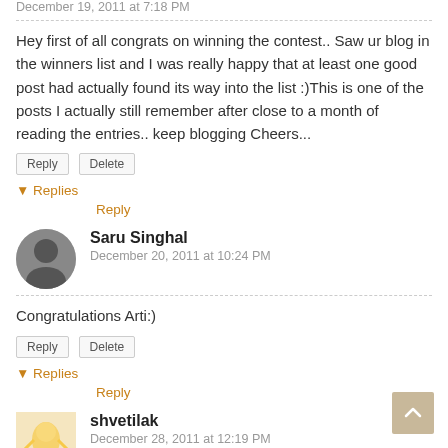December 19, 2011 at 7:18 PM
Hey first of all congrats on winning the contest.. Saw ur blog in the winners list and I was really happy that at least one good post had actually found its way into the list :)This is one of the posts I actually still remember after close to a month of reading the entries.. keep blogging Cheers...
▾ Replies
Reply
Saru Singhal
December 20, 2011 at 10:24 PM
Congratulations Arti:)
▾ Replies
Reply
shvetilak
December 28, 2011 at 12:19 PM
congratulations :)